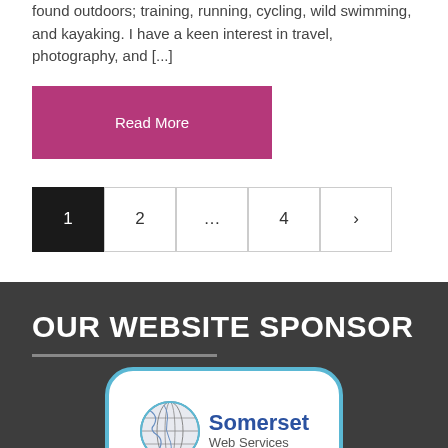found outdoors; training, running, cycling, wild swimming, and kayaking. I have a keen interest in travel, photography, and [...]
Read More
1 2 … 4 ›
OUR WEBSITE SPONSOR
[Figure (logo): Somerset Web Services logo with globe icon and blue text]